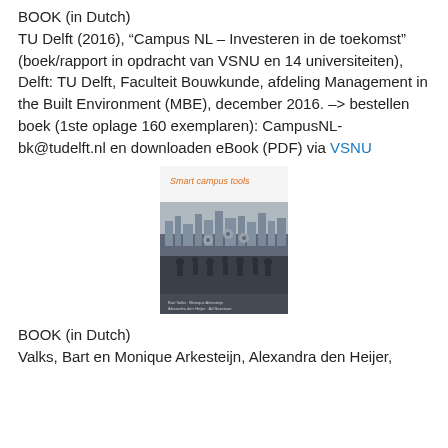BOOK (in Dutch)
TU Delft (2016), “Campus NL – Investeren in de toekomst” (boek/rapport in opdracht van VSNU en 14 universiteiten), Delft: TU Delft, Faculteit Bouwkunde, afdeling Management in the Built Environment (MBE), december 2016. –> bestellen boek (1ste oplage 160 exemplaren): CampusNL-bk@tudelft.nl en downloaden eBook (PDF) via VSNU
[Figure (illustration): Book cover of 'Smart campus tools' showing a stylized city/campus silhouette with people figures in dark tones and orange title text]
BOOK (in Dutch)
Valks, Bart en Monique Arkesteijn, Alexandra den Heijer,